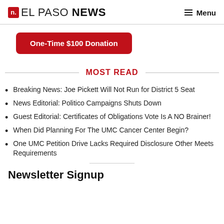n. EL PASO NEWS — Menu
One-Time $100 Donation
MOST READ
Breaking News: Joe Pickett Will Not Run for District 5 Seat
News Editorial: Politico Campaigns Shuts Down
Guest Editorial: Certificates of Obligations Vote Is A NO Brainer!
When Did Planning For The UMC Cancer Center Begin?
One UMC Petition Drive Lacks Required Disclosure Other Meets Requirements
Newsletter Signup